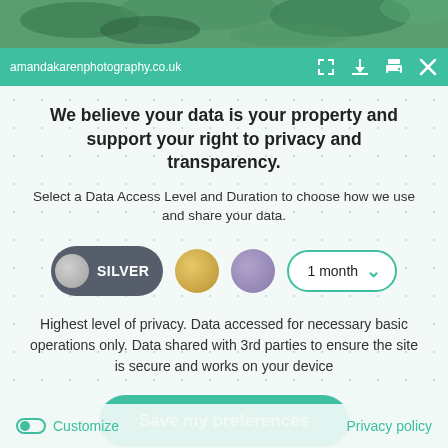[Figure (screenshot): Top browser chrome area showing a teal address bar with URL amandakarenphotography.co.uk and browser control icons, with a partial plant photo at the top]
We believe your data is your property and support your right to privacy and transparency.
Select a Data Access Level and Duration to choose how we use and share your data.
[Figure (infographic): Privacy level selector showing SILVER toggle (active, dark grey), gold circle, purple circle, and a 1 month dropdown selector]
Highest level of privacy. Data accessed for necessary basic operations only. Data shared with 3rd parties to ensure the site is secure and works on your device
Save my preferences
Customize
Privacy policy